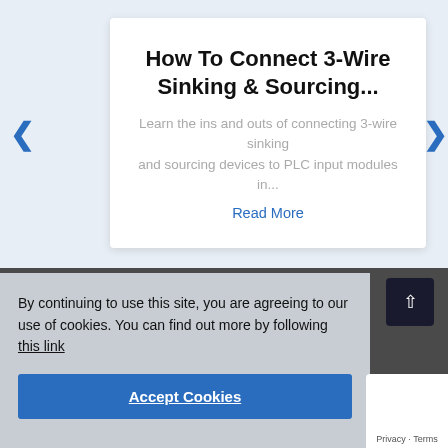How To Connect 3-Wire Sinking & Sourcing...
Learn the ins and outs of connecting 3-wire sinking and sourcing devices to PLC input modules in...
Read More
By continuing to use this site, you are agreeing to our use of cookies. You can find out more by following this link
Accept Cookies
Privacy · Terms